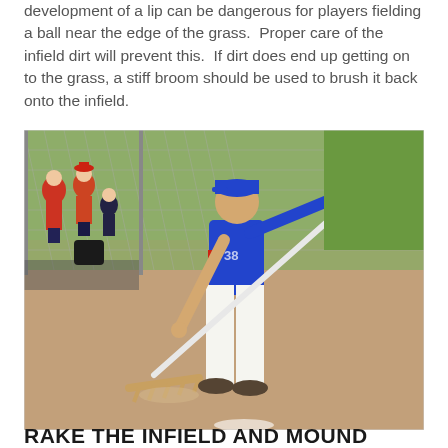development of a lip can be dangerous for players fielding a ball near the edge of the grass.  Proper care of the infield dirt will prevent this.  If dirt does end up getting on to the grass, a stiff broom should be used to brush it back onto the infield.
[Figure (photo): A person in a blue baseball jersey and white pants raking the infield dirt with a large drag rake. Chain-link fence with players/coaches visible in the background on the left.]
RAKE THE INFIELD AND MOUND